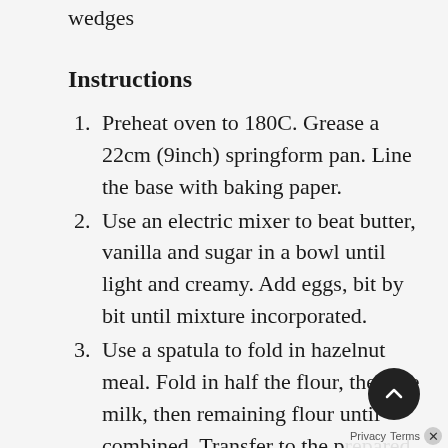Pears (ripe and firm), cut in wedges
Instructions
1. Preheat oven to 180C. Grease a 22cm (9inch) springform pan. Line the base with baking paper.
2. Use an electric mixer to beat butter, vanilla and sugar in a bowl until light and creamy. Add eggs, bit by bit until mixture incorporated.
3. Use a spatula to fold in hazelnut meal. Fold in half the flour, then the milk, then remaining flour until combined. Transfer to the prepared